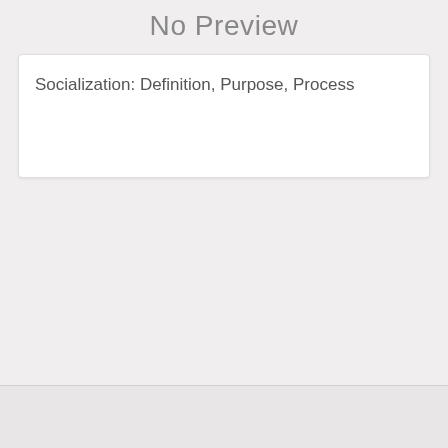No Preview
Socialization: Definition, Purpose, Process